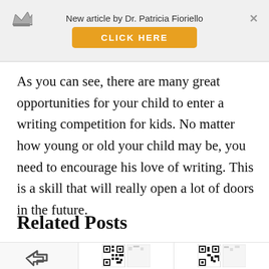New article by Dr. Patricia Fioriello — CLICK HERE
As you can see, there are many great opportunities for your child to enter a writing competition for kids. No matter how young or old your child may be, you need to encourage his love of writing. This is a skill that will really open a lot of doors in the future.
Related Posts
[Figure (other): Bottom row with share icon and two related post thumbnail images (QR-code style thumbnails)]